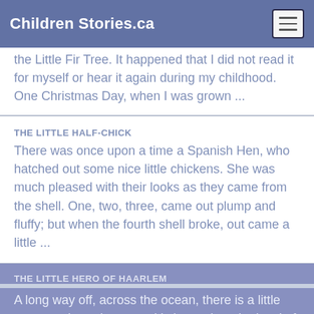Children Stories.ca
the Little Fir Tree. It happened that I did not read it for myself or hear it again during my childhood. One Christmas Day, when I was grown ...
THE LITTLE HALF-CHICK
There was once upon a time a Spanish Hen, who hatched out some nice little chickens. She was much pleased with their looks as they came from the shell. One, two, three, came out plump and fluffy; but when the fourth shell broke, out came a little ...
THE LITTLE HERO OF HAARLEM
A long way off, across the ocean, there is a little country where the ground is lower than the level of the sea, instead of higher, as it is here. Of course the water would run in and cover the land and houses, if something were not done to keep it ...